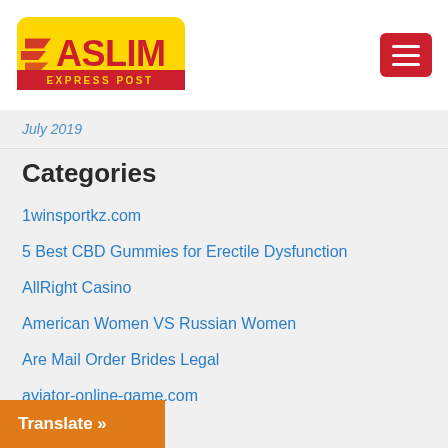[Figure (logo): ASLIM EXPRESS POST logo — yellow rounded rectangle background with red stylized text 'ASLIM' and speed lines, subtitle 'EXPRESS POST' in yellow on red stripe]
July 2019
Categories
1winsportkz.com
5 Best CBD Gummies for Erectile Dysfunction
AllRight Casino
American Women VS Russian Women
Are Mail Order Brides Legal
aviator-online-game.com
Best CBD
Best CBD Gummies For Quitting Smoking
CBD Oils
Translate »